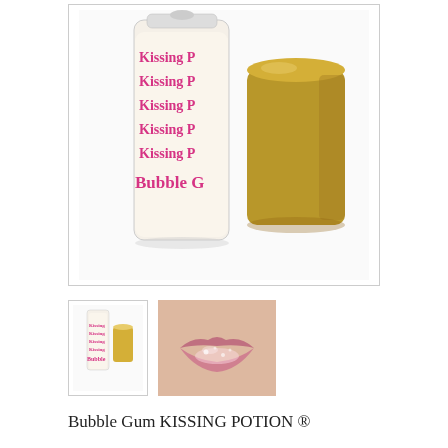[Figure (photo): Main product image: a tall clear glass roller bottle with pink 'Kissing P...' and 'Bubble G...' text repeated on label, next to a gold cylindrical cap, on white background]
[Figure (photo): Thumbnail of the full Kissing Potion roller bottle with gold cap]
[Figure (photo): Close-up thumbnail of glossy lips with glitter/sparkle effect]
Bubble Gum KISSING POTION ®